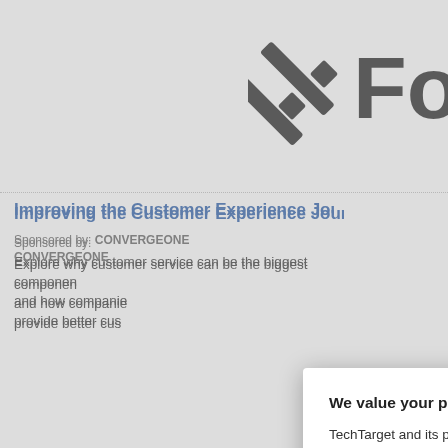[Figure (logo): Logo with stylized X/slash marks and partial letter 'Fo' visible at top right]
Improving the Customer Experience Journey with
Sponsored by: CONVERGEONE
Explore why customer service can be the biggest component and how companies applied AI, machine learning and media provide better customer experience.
Sentiment analysis... level
Sponsored by: SEARCHC...
AI, BI and big data... for marketing automation...
[Figure (screenshot): Privacy consent modal dialog overlay on webpage. Title: 'We value your privacy.' Body text explains TechTarget and partners use cookies. Contains links to 'manage your settings' and 'Privacy Policy'. Has OK and Settings buttons, and X close button.]